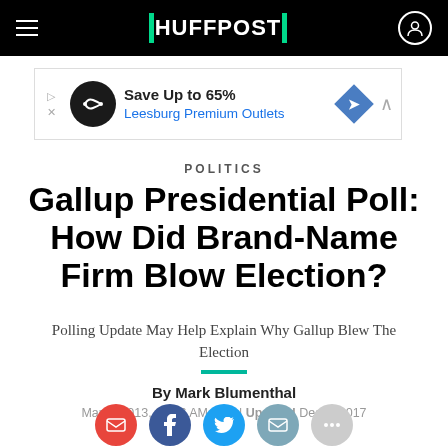HUFFPOST
[Figure (screenshot): Advertisement banner for Leesburg Premium Outlets: Save Up to 65%]
POLITICS
Gallup Presidential Poll: How Did Brand-Name Firm Blow Election?
Polling Update May Help Explain Why Gallup Blew The Election
By Mark Blumenthal
Mar 8, 2013, 08:16 AM EST | Updated Dec 6, 2017
[Figure (other): Social sharing icons row: email, Facebook, Twitter, email, more]